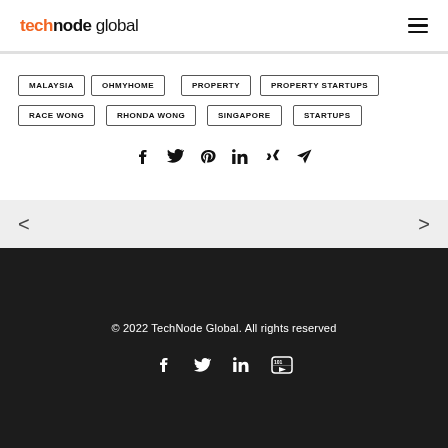technode global
MALAYSIA
OHMYHOME
PROPERTY
PROPERTY STARTUPS
RACE WONG
RHONDA WONG
SINGAPORE
STARTUPS
[Figure (infographic): Social share icons: Facebook, Twitter, Pinterest, LinkedIn, Xing, Email/Send]
[Figure (infographic): Navigation arrows: left arrow and right arrow]
© 2022 TechNode Global. All rights reserved
[Figure (infographic): Footer social icons: Facebook, Twitter, LinkedIn, YouTube]